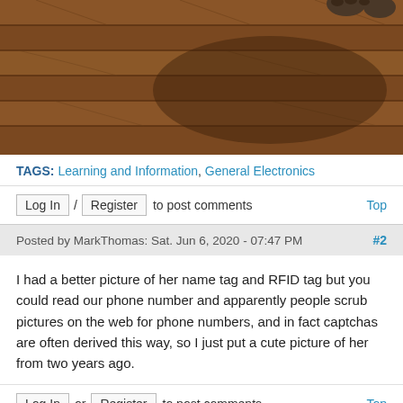[Figure (photo): Partial photo of a cat on a wooden floor viewed from above. The top of the image shows cat paws and the rest is a warm brown hardwood floor with wood grain patterns and shadows.]
TAGS: Learning and Information, General Electronics
Log In / Register to post comments   Top
Posted by MarkThomas: Sat. Jun 6, 2020 - 07:47 PM  #2
I had a better picture of her name tag and RFID tag but you could read our phone number and apparently people scrub pictures on the web for phone numbers, and in fact captchas are often derived this way, so I just put a cute picture of her from two years ago.
Log In or Register to post comments   Top